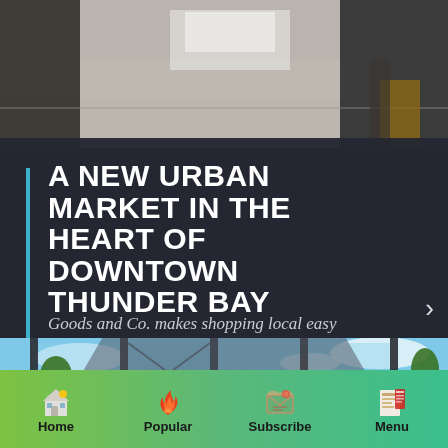[Figure (photo): Top photo showing an indoor floor/carpet scene with dark edges, viewed from above, with a person's feet and shopping bag visible]
A NEW URBAN MARKET IN THE HEART OF DOWNTOWN THUNDER BAY
Goods and Co. makes shopping local easy
By Stephanie Reid
[Figure (photo): Exterior photo of a modern glass building with large floor-to-ceiling windows reflecting blue sky, trees visible in background]
Home  Popular  Subscribe  Menu